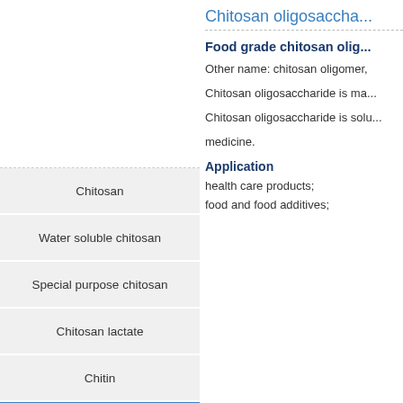Chitosan oligosaccha...
Food grade chitosan olig...
Chitosan
Water soluble chitosan
Special purpose chitosan
Chitosan lactate
Chitin
Chitosan oligosaccharide
D-Glucosamine
Other name: chitosan oligomer,
Chitosan oligosaccharide is ma...
Chitosan oligosaccharide is solu...
medicine.
Application
health care products;
food and food additives;